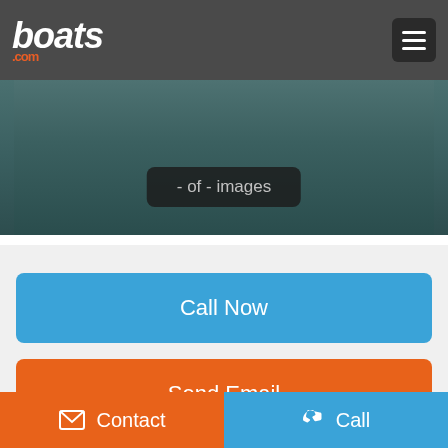boats.com
[Figure (screenshot): Boat image with '- of - images' overlay badge on dark teal water background]
- of - images
Call Now
Send Email
Boat Details
Contact
Call